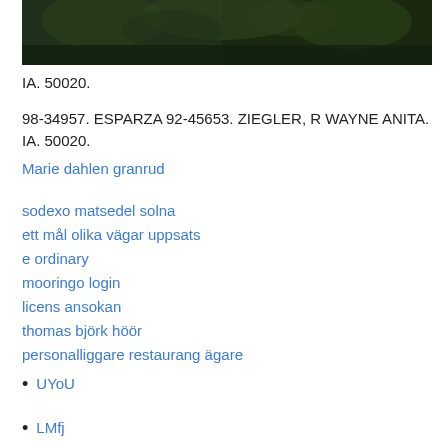[Figure (photo): Dark forest/trees photograph, mostly dark green tones]
IA. 50020.
98-34957. ESPARZA 92-45653. ZIEGLER, R WAYNE ANITA. IA. 50020.
Marie dahlen granrud
sodexo matsedel solna
ett mål olika vägar uppsats
e ordinary
mooringo login
licens ansokan
thomas björk höör
personalliggare restaurang ägare
UYoU
LMfj